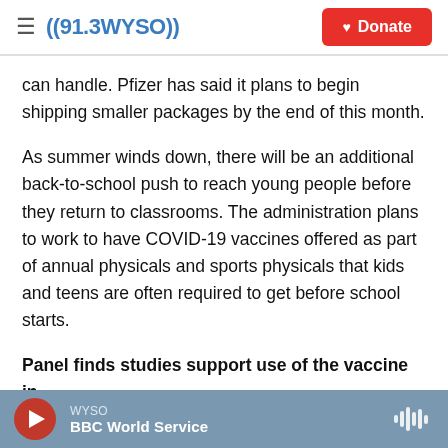((91.3 WYSO)) Donate
can handle. Pfizer has said it plans to begin shipping smaller packages by the end of this month.
As summer winds down, there will be an additional back-to-school push to reach young people before they return to classrooms. The administration plans to work to have COVID-19 vaccines offered as part of annual physicals and sports physicals that kids and teens are often required to get before school starts.
Panel finds studies support use of the vaccine in
WYSO | BBC World Service